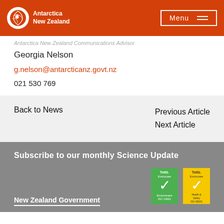Antarctica New Zealand
Antarctica New Zealand Communications Advisor
Georgia Nelson
g.nelson@antarcticanz.govt.nz
021 530 769
Back to News
Previous Article
Next Article
Subscribe to our monthly Science Update
New Zealand Government
[Figure (logo): Toitū Envirocare Environment ISO 14001 green badge]
[Figure (logo): Toitū Envirocare Health & Safety ISO 45001 yellow badge]